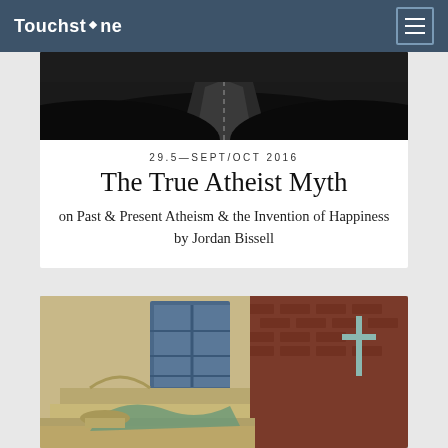Touchstone
[Figure (photo): Black and white photo of a winding road or path through dark landscape]
29.5—SEPT/OCT 2016
The True Atheist Myth
on Past & Present Atheism & the Invention of Happiness by Jordan Bissell
[Figure (photo): Photo of a church exterior showing brick wall, ornate stonework, stained glass windows, and a cross]